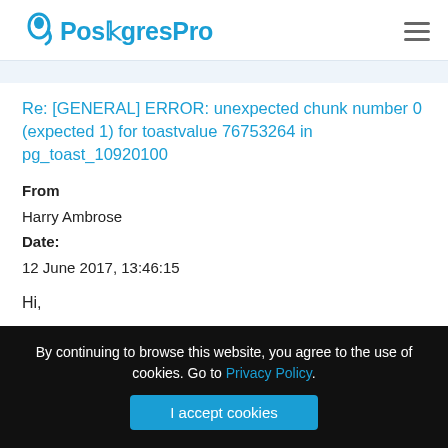PostgresPro
Re: [GENERAL] ERROR: unexpected chunk number 0 (expected 1) for toastvalue 76753264 in pg_toast_10920100
From
Harry Ambrose
Date:
12 June 2017, 13:46:15
Hi,
By continuing to browse this website, you agree to the use of cookies. Go to Privacy Policy.